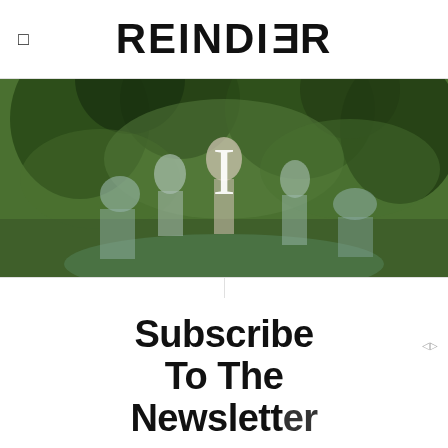REINDIER
[Figure (photo): A dramatic artistic photo showing a man standing among several stone or body-painted figures in a forest setting, with a large Roman numeral 'I' overlaid in white serif text at the center.]
Subscribe To The Newsletter